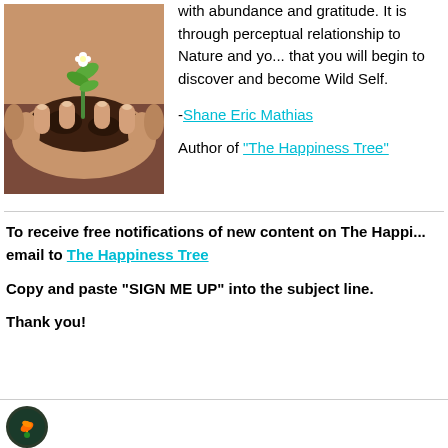[Figure (photo): Hands holding soil with a small green plant growing from it, held by what appears to be a child's hands over adult hands.]
with abundance and gratitude. It is through perceptual relationship to Nature and your that you will begin to discover and become Wild Self.
-Shane Eric Mathias
Author of "The Happiness Tree"
To receive free notifications of new content on The Happiness Tree, email to The Happiness Tree

Copy and paste "SIGN ME UP" into the subject line.

Thank you!
[Figure (logo): Circular logo with a small plant/sprout icon on dark background, for The Happiness Tree]